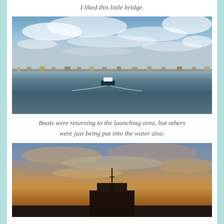I liked this little bridge.
[Figure (photo): Harbor scene with many boats moored on calm blue water under a dramatic cloudy sky at dusk. A single dark boat with white top is moving through the center of the frame, leaving a wake. Many sailboats and motorboats are moored in the background along the horizon.]
Boats were returning to the launching area, but others were just being put into the water also.
[Figure (photo): Sunset scene showing a small dark building or structure silhouetted against a dramatic orange and blue sky with scattered clouds. Warm orange and golden light illuminates the clouds near the horizon.]